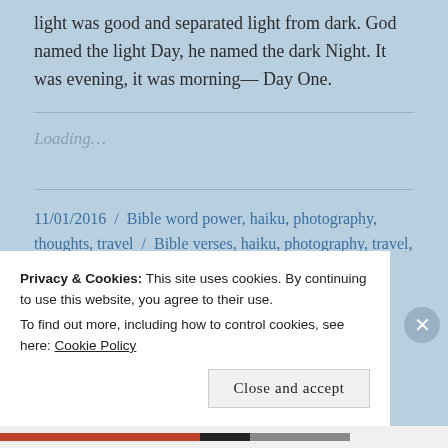light was good and separated light from dark. God named the light Day, he named the dark Night. It was evening, it was morning— Day One.
Loading...
11/01/2016 / Bible word power, haiku, photography, thoughts, travel / Bible verses, haiku, photography, travel, Weekly Photo Challenge / Leave a comment
Privacy & Cookies: This site uses cookies. By continuing to use this website, you agree to their use. To find out more, including how to control cookies, see here: Cookie Policy